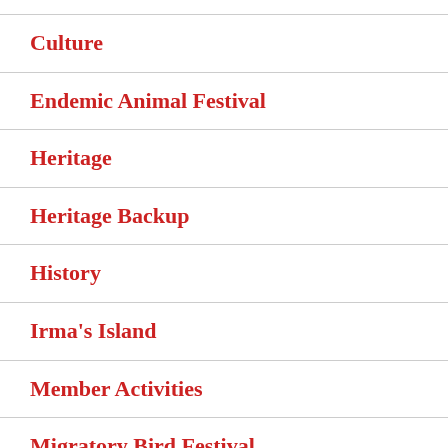Culture
Endemic Animal Festival
Heritage
Heritage Backup
History
Irma's Island
Member Activities
Migratory Bird Festival
Neighborhoods